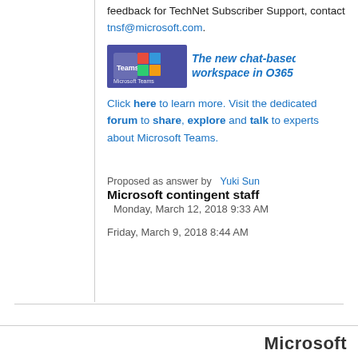feedback for TechNet Subscriber Support, contact tnsf@microsoft.com.
[Figure (illustration): Microsoft Teams banner: logo with text 'Microsoft Teams' and tagline 'The new chat-based workspace in O365']
Click here to learn more. Visit the dedicated forum to share, explore and talk to experts about Microsoft Teams.
Proposed as answer by  Yuki Sun
Microsoft contingent staff
Monday, March 12, 2018 9:33 AM
Friday, March 9, 2018 8:44 AM